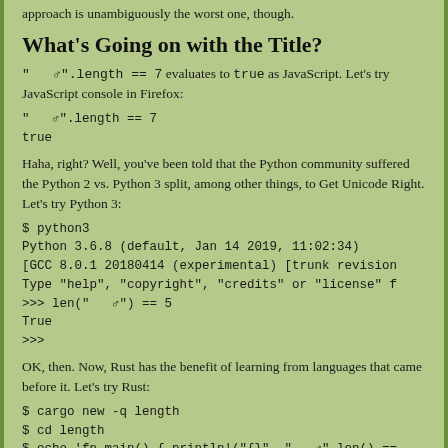approach is unambiguously the worst one, though.
What's Going on with the Title?
"   ♂".length == 7 evaluates to true as JavaScript. Let's try JavaScript console in Firefox:
"   ♂".length == 7
true
Haha, right? Well, you've been told that the Python community suffered the Python 2 vs. Python 3 split, among other things, to Get Unicode Right. Let's try Python 3:
$ python3
Python 3.6.8 (default, Jan 14 2019, 11:02:34)
[GCC 8.0.1 20180414 (experimental) [trunk revision
Type "help", "copyright", "credits" or "license" f
>>> len("   ♂") == 5
True
>>>
OK, then. Now, Rust has the benefit of learning from languages that came before it. Let's try Rust:
$ cargo new -q length
$ cd length
$ echo 'fn main() { println!("{}", "   ♂".len() ==